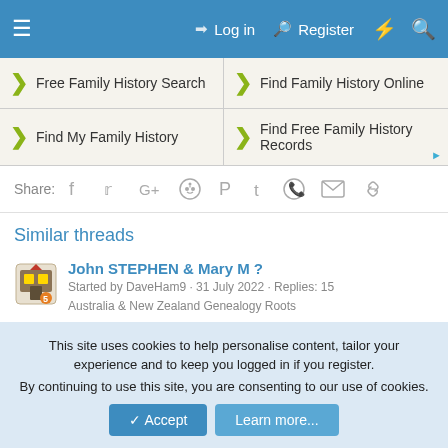≡  Log in  Register  ⚡  🔍
[Figure (infographic): Ad grid with four genealogy search links: Free Family History Search, Find Family History Online, Find My Family History, Find Free Family History Records]
Share:  f  tw  G+  reddit  P  t  WhatsApp  mail  link
Similar threads
John STEPHEN & Mary M ?
Started by DaveHam9 · 31 July 2022 · Replies: 15
Australia & New Zealand Genealogy Roots
WALKER & STEPHENS/STEVENS
Started by DaveHam9 · 26 May 2022 · Replies: 3
This site uses cookies to help personalise content, tailor your experience and to keep you logged in if you register.
By continuing to use this site, you are consenting to our use of cookies.